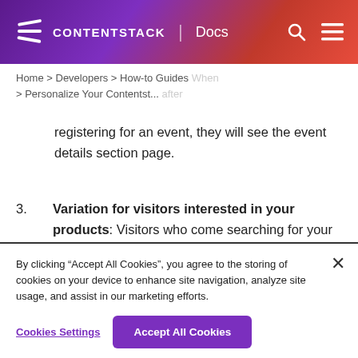CONTENTSTACK | Docs
Home > Developers > How-to Guides > Personalize Your Contentst...
registering for an event, they will see the event details section page.
3. Variation for visitors interested in your products: Visitors who come searching for your product will see the products
By clicking "Accept All Cookies", you agree to the storing of cookies on your device to enhance site navigation, analyze site usage, and assist in our marketing efforts.
Cookies Settings
Accept All Cookies